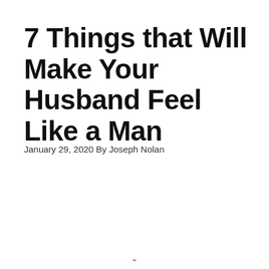7 Things that Will Make Your Husband Feel Like a Man
January 29, 2020 By Joseph Nolan